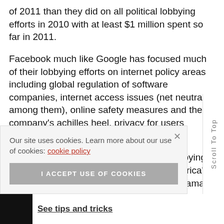of 2011 than they did on all political lobbying efforts in 2010 with at least $1 million spent so far in 2011.
Facebook much like Google has focused much of their lobbying efforts on internet policy areas including global regulation of software companies, internet access issues (net neutrality among them), online safety measures and the company's achilles heel, privacy for users among other issues.
When not spending money directly on lobbying Facebook has been playing nice with America's top political figures including President Obama who held network in
Our site uses cookies. Learn more about our use of cookies: cookie policy
I ACCEPT USE OF COOKIES
Scroll To Top
See tips and tricks